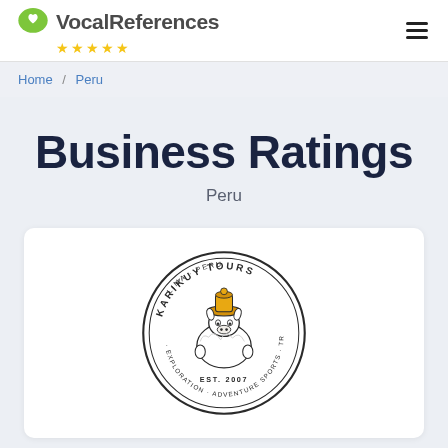VocalReferences ★★★★★
Home / Peru
Business Ratings
Peru
[Figure (logo): Karikuy Tours circular logo — Lima, Peru. Features a cartoon llama wearing a yellow hat in the center. Text around the circle reads: KARIKUY TOURS, LIMA · PERU, EXPLORATION · ADVENTURE SPORTS · TREKKING · TOURS, EST. 2007]